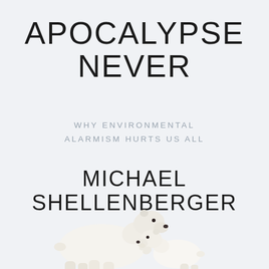APOCALYPSE NEVER
WHY ENVIRONMENTAL ALARMISM HURTS US ALL
MICHAEL SHELLENBERGER
[Figure (photo): Two polar bears — a large adult and a small cub — facing each other on a white/pale blue background, appearing to nuzzle or touch noses.]